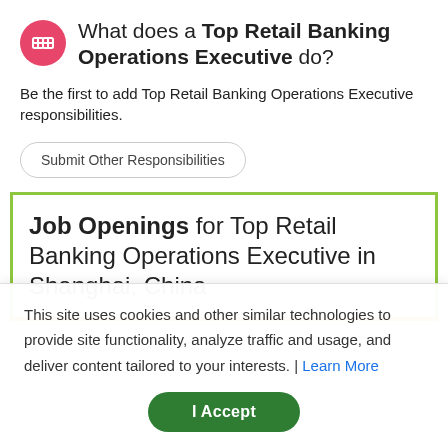What does a Top Retail Banking Operations Executive do?
Be the first to add Top Retail Banking Operations Executive responsibilities.
Submit Other Responsibilities
Job Openings for Top Retail Banking Operations Executive in Shanghai, China
This site uses cookies and other similar technologies to provide site functionality, analyze traffic and usage, and deliver content tailored to your interests. | Learn More
I Accept